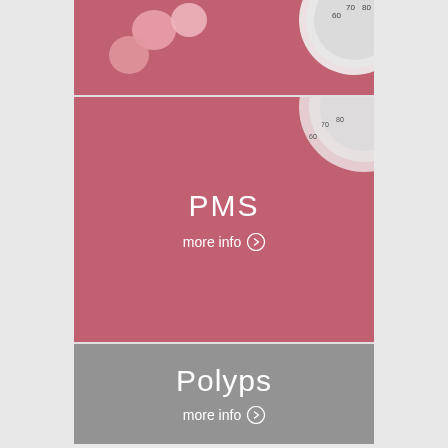[Figure (photo): Pink background with white/pink pills and a portion of a blood pressure gauge visible in the upper right corner]
PMS
more info ❯
Polyps
more info ❯